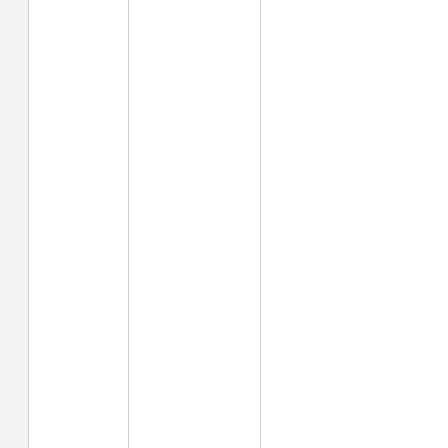| MiP2010 |  | subcutaneous and visceral adipose tissue from patients with morbid obesity. Mitochondr Physiol Network 15.6:50-1. |
MiPNet Reference Laboratories in Focus - 2012-07-20
Previous labs
CA_Montreal_Boushel RC >> CA Montreal Bergdahl A
DK_Copenhagen_Boushel RC >> DK Copenhagen Dela F